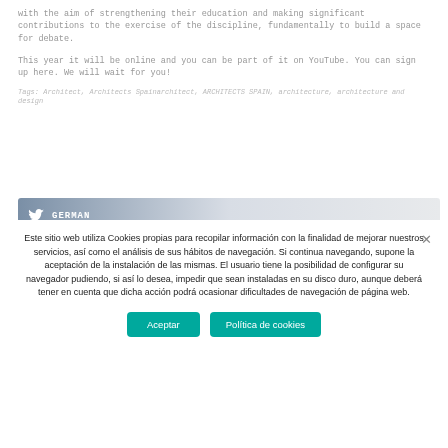with the aim of strengthening their education and making significant contributions to the exercise of the discipline, fundamentally to build a space for debate.
This year it will be online and you can be part of it on YouTube. You can sign up here. We will wait for you!
Tags: Architect, Architects Spainarchitect, ARCHITECTS SPAIN, architecture, architecture and design
[Figure (other): A horizontal banner bar with gradient from steel blue to light grey, containing a Twitter bird icon and the bold white text 'GERMAN']
Este sitio web utiliza Cookies propias para recopilar información con la finalidad de mejorar nuestros servicios, así como el análisis de sus hábitos de navegación. Si continua navegando, supone la aceptación de la instalación de las mismas. El usuario tiene la posibilidad de configurar su navegador pudiendo, si así lo desea, impedir que sean instaladas en su disco duro, aunque deberá tener en cuenta que dicha acción podrá ocasionar dificultades de navegación de página web.